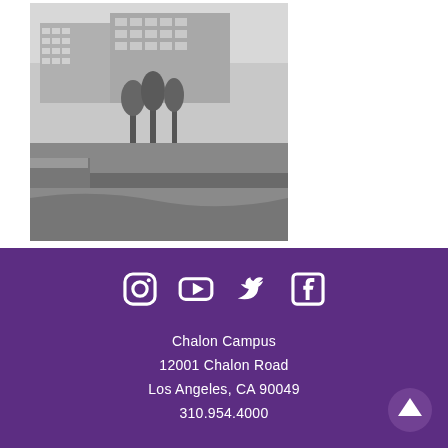[Figure (photo): Black and white aerial photograph of a campus with multi-story buildings and trees]
Chalon Campus
12001 Chalon Road
Los Angeles, CA 90049
310.954.4000